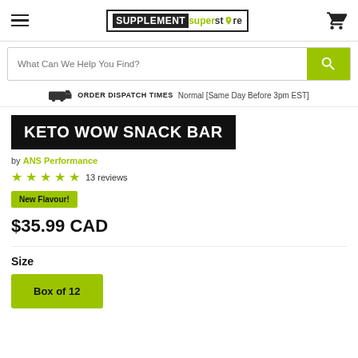Supplement Superstore logo and navigation
What Can We Help You Find?
ORDER DISPATCH TIMES Normal [Same Day Before 3pm EST]
KETO WOW SNACK BAR
by ANS Performance
13 reviews
New Flavour!
$35.99 CAD
Size
Box of 12